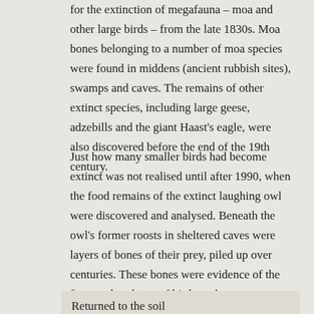for the extinction of megafauna – moa and other large birds – from the late 1830s. Moa bones belonging to a number of moa species were found in middens (ancient rubbish sites), swamps and caves. The remains of other extinct species, including large geese, adzebills and the giant Haast's eagle, were also discovered before the end of the 19th century.
Just how many smaller birds had become extinct was not realised until after 1990, when the food remains of the extinct laughing owl were discovered and analysed. Beneath the owl's former roosts in sheltered caves were layers of bones of their prey, piled up over centuries. These bones were evidence of the former abundance of birds such as saddlebacks, which now survive only on predator-free islands.
Returned to the soil